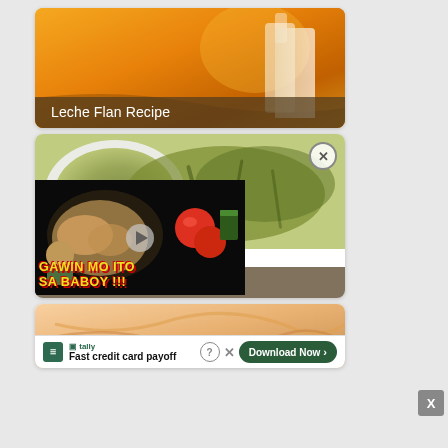[Figure (photo): Leche flan dessert photo showing orange caramel custard, partially cropped]
Leche Flan Recipe
[Figure (photo): Sauteed vegetable dish in white bowl, showing green leafy vegetables]
[Figure (screenshot): Video overlay showing GAWIN MO ITO SA BABOY !!! with play button, man, meat, tomatoes visible]
g Recipe
[Figure (photo): Third recipe card partially visible at bottom]
[Figure (screenshot): Tally advertisement banner: Fast credit card payoff, Download Now button]